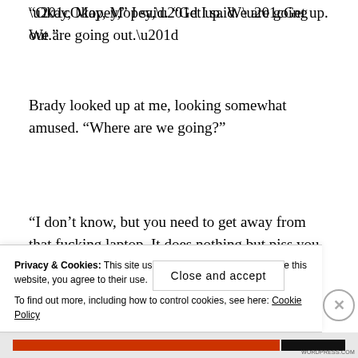“Okay, Mopey,” I said. “Get up. We are going out.”
Brady looked up at me, looking somewhat amused. “Where are we going?”
“I don’t know, but you need to get away from that fucking laptop. It does nothing but piss you off.”
He nodded slowly and sighed like
Privacy & Cookies: This site uses cookies. By continuing to use this website, you agree to their use.
To find out more, including how to control cookies, see here: Cookie Policy